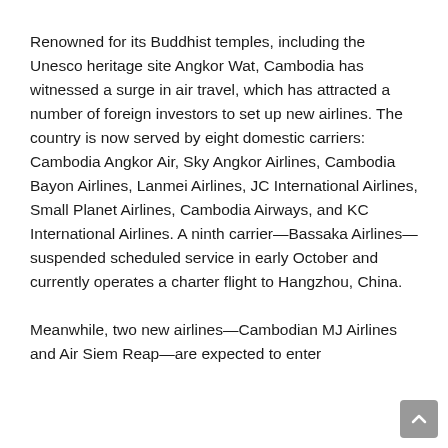Renowned for its Buddhist temples, including the Unesco heritage site Angkor Wat, Cambodia has witnessed a surge in air travel, which has attracted a number of foreign investors to set up new airlines. The country is now served by eight domestic carriers: Cambodia Angkor Air, Sky Angkor Airlines, Cambodia Bayon Airlines, Lanmei Airlines, JC International Airlines, Small Planet Airlines, Cambodia Airways, and KC International Airlines. A ninth carrier—Bassaka Airlines—suspended scheduled service in early October and currently operates a charter flight to Hangzhou, China.

Meanwhile, two new airlines—Cambodian MJ Airlines and Air Siem Reap—are expected to enter